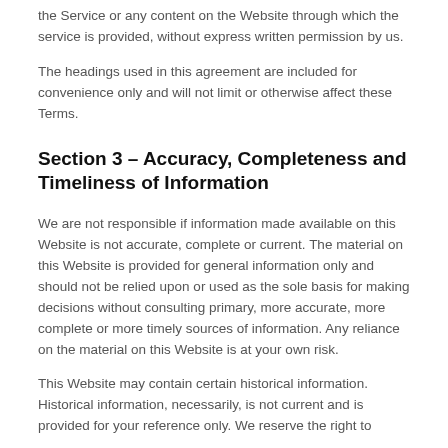the Service or any content on the Website through which the service is provided, without express written permission by us.
The headings used in this agreement are included for convenience only and will not limit or otherwise affect these Terms.
Section 3 – Accuracy, Completeness and Timeliness of Information
We are not responsible if information made available on this Website is not accurate, complete or current. The material on this Website is provided for general information only and should not be relied upon or used as the sole basis for making decisions without consulting primary, more accurate, more complete or more timely sources of information. Any reliance on the material on this Website is at your own risk.
This Website may contain certain historical information. Historical information, necessarily, is not current and is provided for your reference only. We reserve the right to